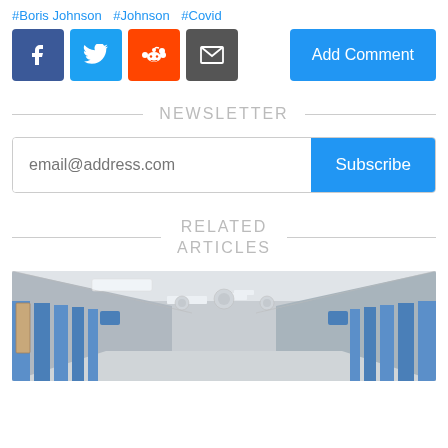#Boris Johnson  #Johnson  #Covid
[Figure (infographic): Social sharing buttons: Facebook (blue), Twitter (blue), Reddit (orange), Email (grey), and an Add Comment button (blue)]
NEWSLETTER
email@address.com  Subscribe
RELATED ARTICLES
[Figure (photo): Hospital corridor interior with fluorescent ceiling lights and blue curtains/panels along the walls]